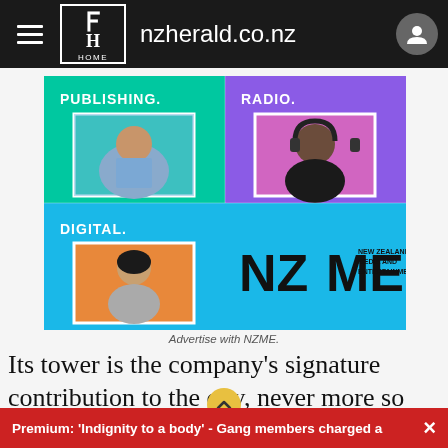nzherald.co.nz
[Figure (illustration): NZME advertisement showing three quadrants: Publishing (teal, man in blue shirt with tablet and mug), Radio (purple, man with headphones), Digital (cyan, woman with phone). NZME logo in bottom right quadrant.]
Advertise with NZME.
Its tower is the company's signature contribution to the city, never more so than at the stroke of the new year
Premium: 'Indignity to a body' - Gang members charged a